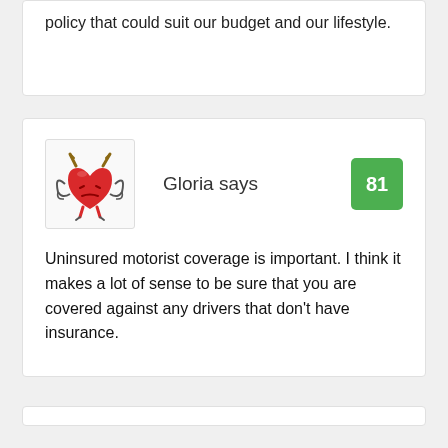policy that could suit our budget and our lifestyle.
Gloria says
81
Uninsured motorist coverage is important. I think it makes a lot of sense to be sure that you are covered against any drivers that don't have insurance.